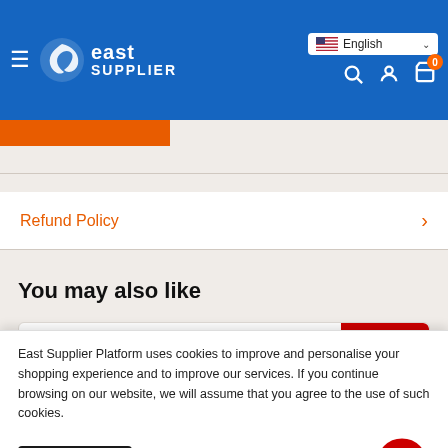East Supplier — English language selector, search, account, cart (0)
Refund Policy
You may also like
[Figure (other): Product card with Save 20% badge in red]
East Supplier Platform uses cookies to improve and personalise your shopping experience and to improve our services. If you continue browsing on our website, we will assume that you agree to the use of such cookies.
Accept